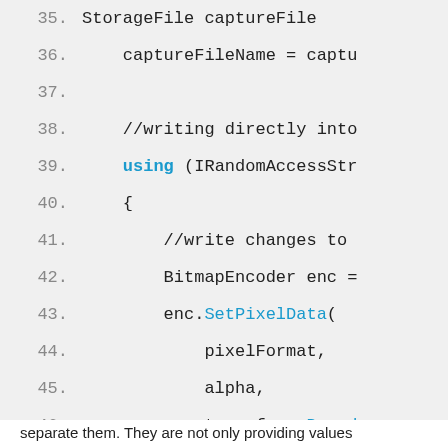[Figure (screenshot): Code editor screenshot showing lines 35-53 of C# code with syntax highlighting. Keywords in bold blue, method names in blue, code in monospace font on light gray background.]
Privacy & Cookies: This site uses cookies. By continuing to use this website, you agree to their use.
To find out more, including how to control cookies, see here: Cookie Policy
separate them. They are not only providing values